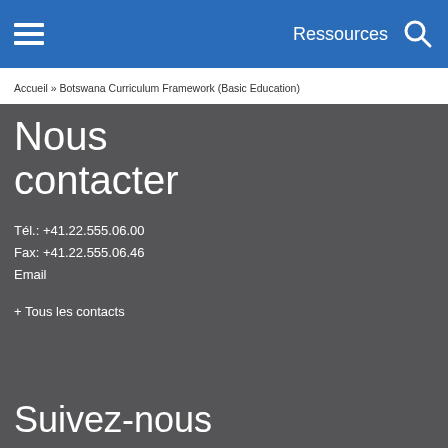Ressources
Accueil » Botswana Curriculum Framework (Basic Education)
Nous contacter
Tél.: +41.22.555.06.00
Fax: +41.22.555.06.46
Email
+ Tous les contacts
Suivez-nous